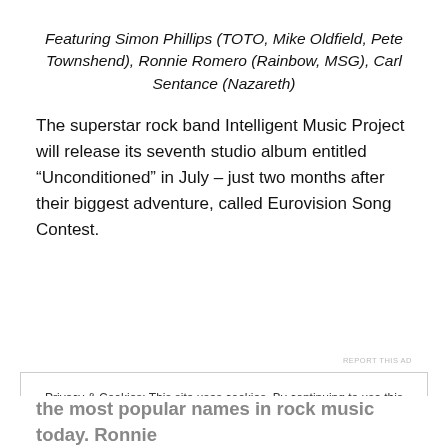Featuring Simon Phillips (TOTO, Mike Oldfield, Pete Townshend), Ronnie Romero (Rainbow, MSG), Carl Sentance (Nazareth)
The superstar rock band Intelligent Music Project will release its seventh studio album entitled “Unconditioned” in July – just two months after their biggest adventure, called Eurovision Song Contest.
REPORT THIS AD
Privacy & Cookies: This site uses cookies. By continuing to use this website, you agree to their use. To find out more, including how to control cookies, see here: Cookie Policy
Close and accept
the most popular names in rock music today. Ronnie